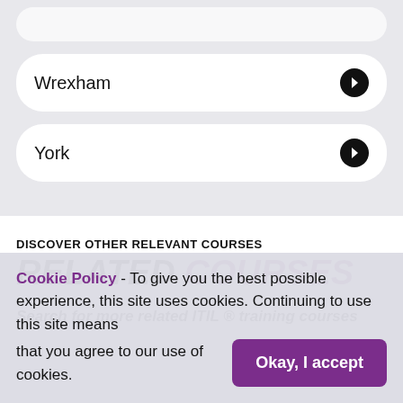Wrexham →
York →
DISCOVER OTHER RELEVANT COURSES
RELATED COURSES
Search for more related ITIL ® training courses
Cookie Policy - To give you the best possible experience, this site uses cookies. Continuing to use this site means that you agree to our use of cookies. Okay, I accept